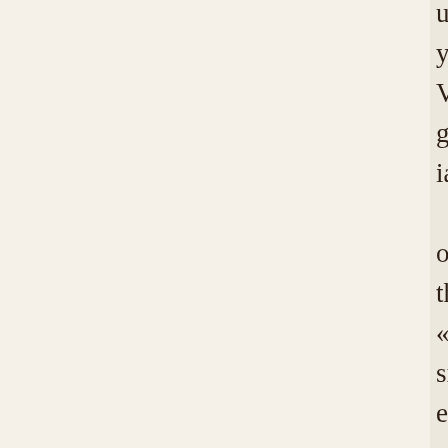unt y, Virginia, on the «. side of James river, at the mouth of